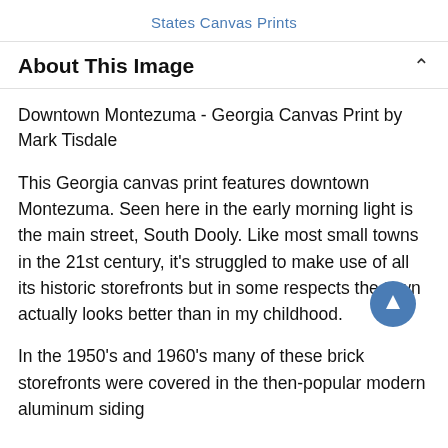States Canvas Prints
About This Image
Downtown Montezuma - Georgia Canvas Print by Mark Tisdale
This Georgia canvas print features downtown Montezuma. Seen here in the early morning light is the main street, South Dooly. Like most small towns in the 21st century, it's struggled to make use of all its historic storefronts but in some respects the town actually looks better than in my childhood.
In the 1950's and 1960's many of these brick storefronts were covered in the then-popular modern aluminum siding